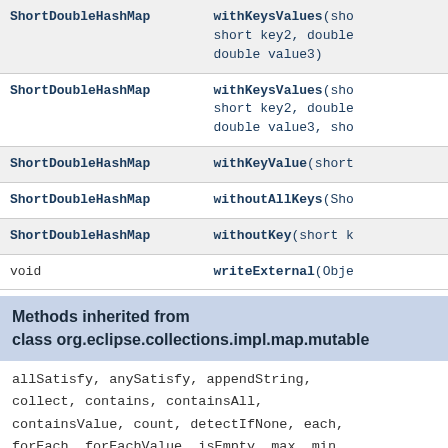| Type | Method |
| --- | --- |
| ShortDoubleHashMap | withKeysValues(sho short key2, double double value3) |
| ShortDoubleHashMap | withKeysValues(sho short key2, double double value3, sho |
| ShortDoubleHashMap | withKeyValue(short |
| ShortDoubleHashMap | withoutAllKeys(Sho |
| ShortDoubleHashMap | withoutKey(short k |
| void | writeExternal(Obje |
Methods inherited from class org.eclipse.collections.impl.map.mutable
allSatisfy, anySatisfy, appendString, collect, contains, containsAll, containsValue, count, detectIfNone, each, forEach, forEachValue, isEmpty, max, min, noneSatisfy, notEmpty, reject, select, size, sum, toArray